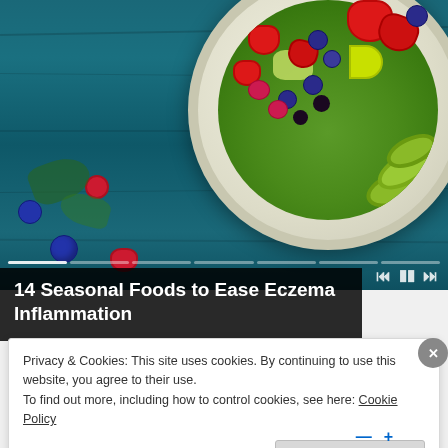[Figure (photo): A plate of colorful salad with strawberries, blueberries, raspberries, blackberries, avocado slices, and green leafy vegetables on a blue wooden table background. A slideshow progress bar and media controls are visible at the bottom of the image.]
14 Seasonal Foods to Ease Eczema Inflammation
Privacy & Cookies: This site uses cookies. By continuing to use this website, you agree to their use.
To find out more, including how to control cookies, see here: Cookie Policy